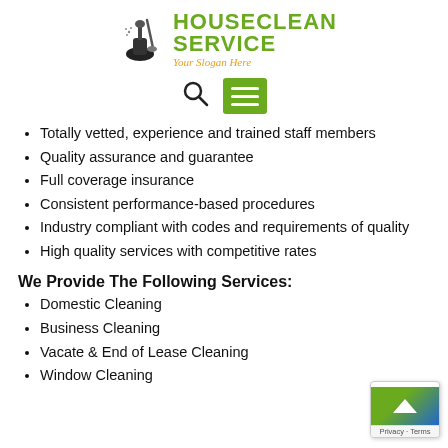[Figure (logo): HouseClean Service logo with cleaning equipment icon, green bold text reading HOUSECLEAN SERVICE, and orange italic slogan Your Slogan Here]
[Figure (other): Navigation bar with search icon and green hamburger menu button]
Totally vetted, experience and trained staff members
Quality assurance and guarantee
Full coverage insurance
Consistent performance-based procedures
Industry compliant with codes and requirements of quality
High quality services with competitive rates
We Provide The Following Services:
Domestic Cleaning
Business Cleaning
Vacate & End of Lease Cleaning
Window Cleaning